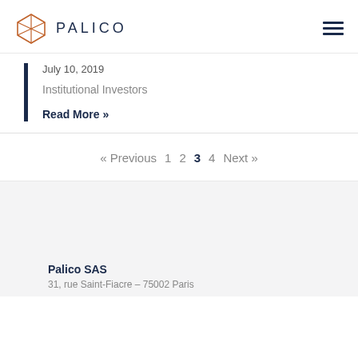PALICO
July 10, 2019
Institutional Investors
Read More »
« Previous  1  2  3  4  Next »
Palico SAS
31, rue Saint-Fiacre - 75002 Paris